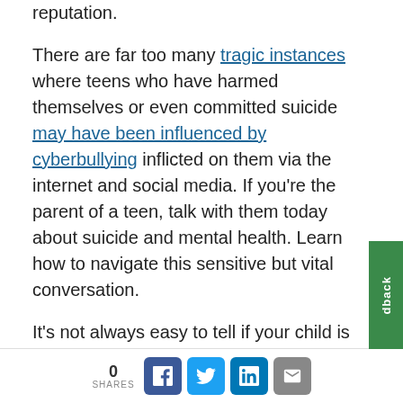reputation.
There are far too many tragic instances where teens who have harmed themselves or even committed suicide may have been influenced by cyberbullying inflicted on them via the internet and social media. If you're the parent of a teen, talk with them today about suicide and mental health. Learn how to navigate this sensitive but vital conversation.
It's not always easy to tell if your child is being cyber-bullied because although some will suddenly drop off social media, many will sta active online, trying to reach out to friends a
0 SHARES